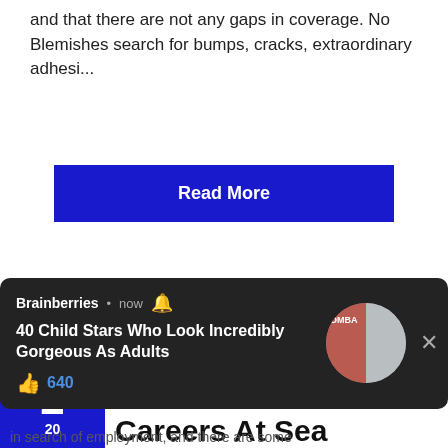and that there are not any gaps in coverage. No Blemishes search for bumps, cracks, extraordinary adhesi...
Read More
SHARE
A Popularity Wave For Careers At Sea
JAN 2 2019
[Figure (screenshot): Brainberries notification popup: '40 Child Stars Who Look Incredibly Gorgeous As Adults' with 640 likes, circular image of two women, close button]
in search of employment, and there are some